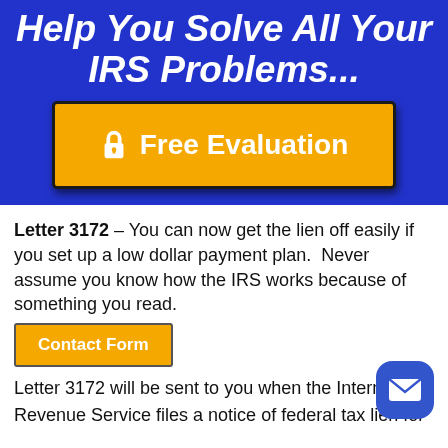Help You Solve All Your IRS Problems...
[Figure (other): Orange button with lock icon and text 'Free Evaluation' on blue background]
Letter 3172 – You can now get the lien off easily if you set up a low dollar payment plan.  Never assume you know how the IRS works because of something you read.
[Figure (other): Orange 'Contact Form' button]
Letter 3172 will be sent to you when the Internal Revenue Service files a notice of federal tax lien for the tax that has not been paid by the taxpayer. If you are not in agre with the content of the letter, then you can always send in